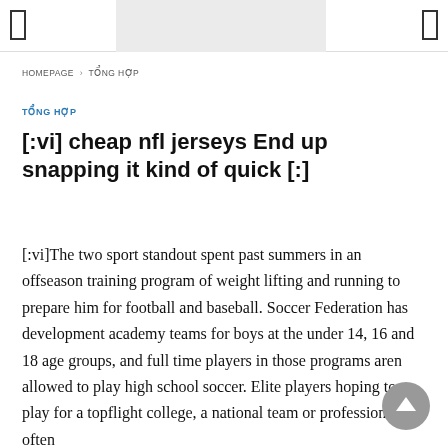HOMEPAGE › TỔNG HỢP
TỔNG HỢP
[:vi] cheap nfl jerseys End up snapping it kind of quick [:]
[:vi]The two sport standout spent past summers in an offseason training program of weight lifting and running to prepare him for football and baseball. Soccer Federation has development academy teams for boys at the under 14, 16 and 18 age groups, and full time players in those programs aren allowed to play high school soccer. Elite players hoping to play for a topflight college, a national team or professionally often